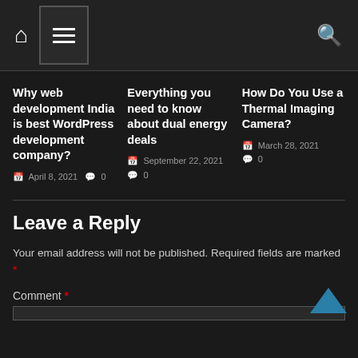Navigation bar with home icon, hamburger menu, and search icon
Why web development India is best WordPress development company?
April 8, 2021  0
Everything you need to know about dual energy deals
September 22, 2021  0
How Do You Use a Thermal Imaging Camera?
March 28, 2021  0
Leave a Reply
Your email address will not be published. Required fields are marked *
Comment *